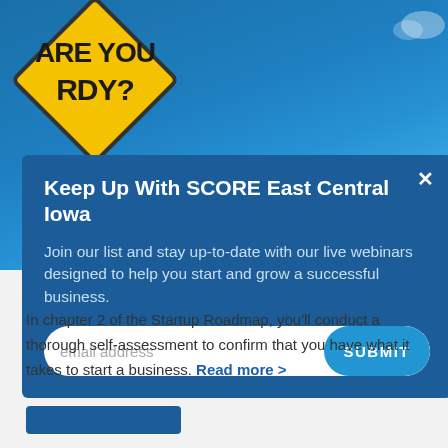[Figure (photo): Blue sky background with a yellow road sign that reads 'ARE YOU RDY?' tilted at an angle]
Keep Up With SCORE East Central Iowa
Join our list and stay up-to-date with our live webinars designed to help you start and grow a successful business.
email address  SUBMIT
In chapter 2 of the Startup Roadmap, you'll conduct a thorough self-assessment to confirm that you have what it takes to start a business. Read more >